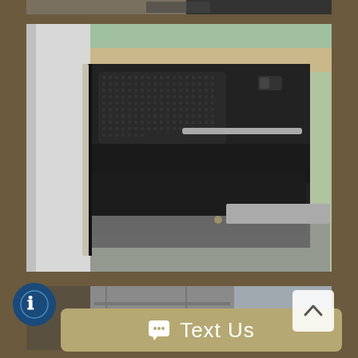[Figure (photo): Top strip photo showing partial car exterior/interior view]
[Figure (photo): Car interior door panel photo showing dark door trim, door handle, door pocket, and vehicle floor/carpet]
[Figure (photo): Partial photo of car seats and interior, gray fabric seats visible]
Text Us